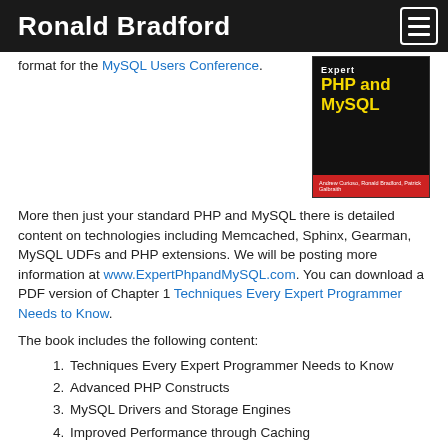Ronald Bradford
format for the MySQL Users Conference.
[Figure (photo): Book cover for Expert PHP and MySQL by Andrew Curioso, Ronald Bradford, Patrick Galbraith]
More then just your standard PHP and MySQL there is detailed content on technologies including Memcached, Sphinx, Gearman, MySQL UDFs and PHP extensions. We will be posting more information at www.ExpertPhpandMySQL.com. You can download a PDF version of Chapter 1 Techniques Every Expert Programmer Needs to Know.
The book includes the following content:
1. Techniques Every Expert Programmer Needs to Know
2. Advanced PHP Constructs
3. MySQL Drivers and Storage Engines
4. Improved Performance through Caching
5. Memcached MySQL
6. Advanced MySQL
7. Extending MySQL with User-defined Functions